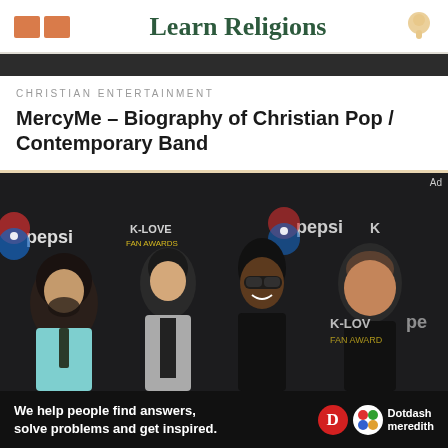Learn Religions
CHRISTIAN ENTERTAINMENT
MercyMe – Biography of Christian Pop / Contemporary Band
[Figure (photo): Four members of the band MercyMe posing at the K-LOVE Fan Awards in front of a step-and-repeat banner with Pepsi and K-Love Fan Awards logos]
We help people find answers, solve problems and get inspired. Dotdash meredith